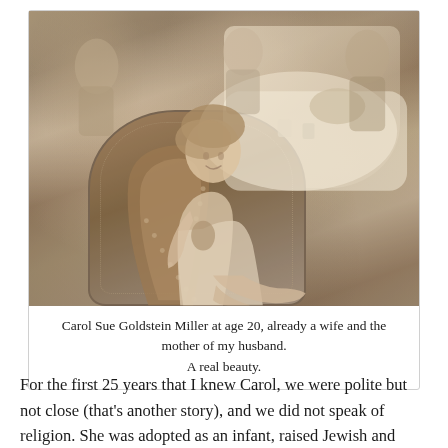[Figure (photo): Black and white / sepia vintage photograph of a young woman, Carol Sue Goldstein Miller at age 20, seated in a leather chair at a dining table in a restaurant setting. She is smiling at the camera. Other people are seated around the table in the background. The photo appears to be from the 1960s.]
Carol Sue Goldstein Miller at age 20, already a wife and the mother of my husband.
A real beauty.
For the first 25 years that I knew Carol, we were polite but not close (that's another story), and we did not speak of religion. She was adopted as an infant, raised Jewish and